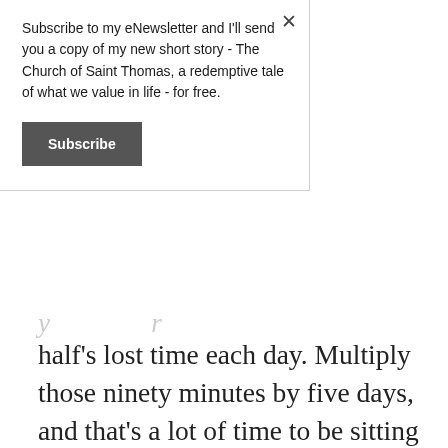Subscribe to my eNewsletter and I'll send you a copy of my new short story - The Church of Saint Thomas, a redemptive tale of what we value in life - for free.
[Figure (other): Subscribe button - dark grey rectangular button with bold white text 'Subscribe']
half's lost time each day. Multiply those ninety minutes by five days, and that's a lot of time to be sitting behind the wheel, your blood pressure slowly percolating.
So I decided to catch the train.